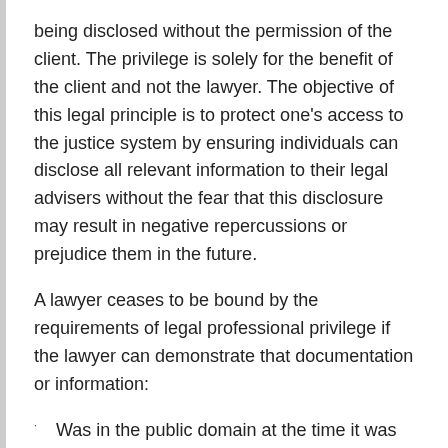being disclosed without the permission of the client. The privilege is solely for the benefit of the client and not the lawyer. The objective of this legal principle is to protect one's access to the justice system by ensuring individuals can disclose all relevant information to their legal advisers without the fear that this disclosure may result in negative repercussions or prejudice them in the future.
A lawyer ceases to be bound by the requirements of legal professional privilege if the lawyer can demonstrate that documentation or information:
Was in the public domain at the time it was disclosed to the lawyer;
Entered the public domain subsequent to the time it was disclosed to the lawyer through no fault of the lawyer; or
Was in the lawyer's possession free of any obligation of